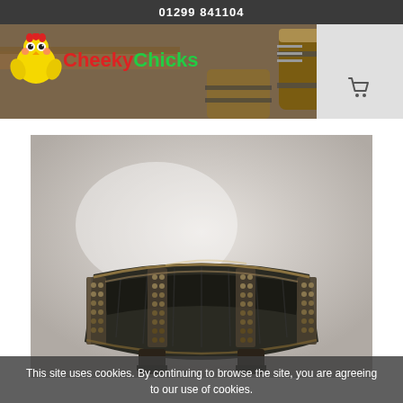01299 841104
[Figure (photo): CheekyChicks website header banner showing wooden barrels and rustic wooden furniture in background, with CheekyChicks logo (cartoon chick face) and brand name on the left, hamburger menu and shopping cart icons on the right]
[Figure (photo): Product photo of a dark charred wooden barrel half cut lengthwise to form a planter/bowl shape, mounted on wooden feet, with metal band straps with decorative studs, displayed on a blurred light grey background]
This site uses cookies. By continuing to browse the site, you are agreeing to our use of cookies.